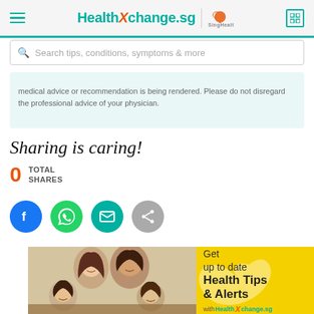HealthXchange.sg | SingHealth
Search tips, conditions, symptoms & more
medical advice or recommendation is being rendered. Please do not disregard the professional advice of your physician.
Sharing is caring!
0 TOTAL SHARES
[Figure (infographic): Social sharing icons: Facebook (blue circle), WhatsApp (green circle), Email (teal circle), Share (grey circle)]
[Figure (infographic): Banner advertisement: Family photo on left with yellow background on right reading 'Get up to date Health Tips & Alerts with HealthXchange.sg']